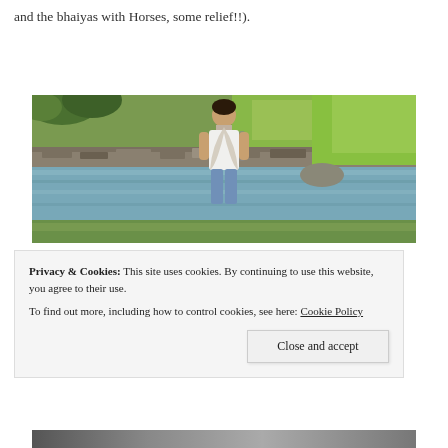and the bhaiyas with Horses, some relief!!).
[Figure (photo): A young man wearing a white t-shirt and patterned scarf standing near a river with green hills and a stone wall in the background.]
Privacy & Cookies: This site uses cookies. By continuing to use this website, you agree to their use. To find out more, including how to control cookies, see here: Cookie Policy
Close and accept